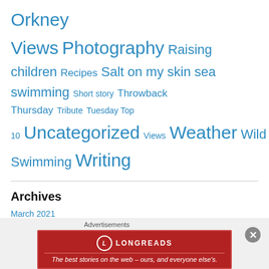Orkney Views Photography Raising children Recipes Salt on my skin sea swimming Short story Throwback Thursday Tribute Tuesday Top 10 Uncategorized Views Weather Wild Swimming Writing
Archives
March 2021
February 2021
December 2020
October 2020
September 2020
August 2020
July 2020
Advertisements
[Figure (infographic): Longreads advertisement: red banner with logo and tagline 'The best stories on the web – ours, and everyone else's.']